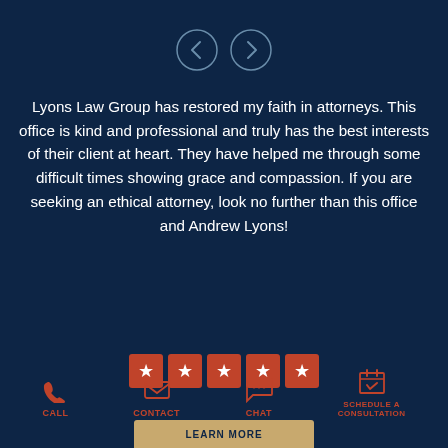[Figure (illustration): Two circular navigation arrow buttons (left chevron and right chevron) outlined in light blue on dark navy background]
Lyons Law Group has restored my faith in attorneys. This office is kind and professional and truly has the best interests of their client at heart. They have helped me through some difficult times showing grace and compassion. If you are seeking an ethical attorney, look no further than this office and Andrew Lyons!
[Figure (infographic): Five star rating shown as five orange/red square boxes each containing a white star symbol]
CALL
CONTACT
CHAT
SCHEDULE A CONSULTATION
LEARN MORE